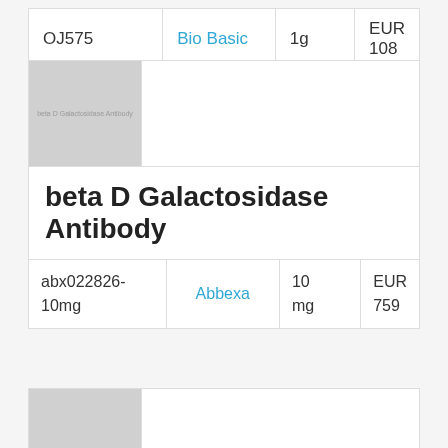| ID | Supplier | Quantity | Price |
| --- | --- | --- | --- |
| OJ575 | Bio Basic | 1g | EUR 108 |
[Figure (photo): Thumbnail placeholder image for beta D Galactosidase Antibody product, grey square with text label]
beta D Galactosidase Antibody
| ID | Supplier | Quantity | Price |
| --- | --- | --- | --- |
| abx022826-10mg | Abbexa | 10 mg | EUR 759 |
[Figure (photo): Thumbnail placeholder image for next product, grey square]